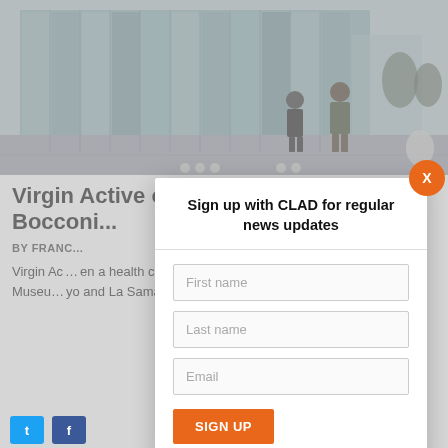[Figure (photo): Exterior of a modern glass-facade building (Bocconi University campus) with two people walking on the pavement in front, trees visible in background, daytime.]
Virgin Active opens new Bocconi...
BY FRANC...
Virgin Ac... en a health clu... versity. The entir... architecture... orary Art Muse... yo and La Sama... ess and wellness... Bocconi...
Sign up with CLAD for regular news updates
First name
Last name
Email
SIGN UP